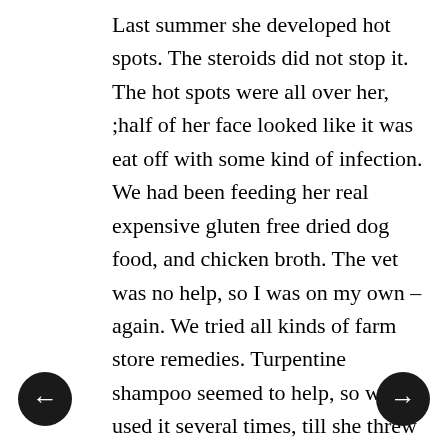Last summer she developed hot spots. The steroids did not stop it. The hot spots were all over her, ;half of her face looked like it was eat off with some kind of infection. We had been feeding her real expensive gluten free dried dog food, and chicken broth. The vet was no help, so I was on my own – again. We tried all kinds of farm store remedies. Turpentine shampoo seemed to help, so we used it several times, till she threw up at the very smell. Finally I gave her B vitamins in with her chicken broth and a few raw chicken livers, hearts and gizzards. You would think that that expensive dog food would have had such probiotic enzymes and B vitamins , but I guess not. She healed and there has been no more hot spots.